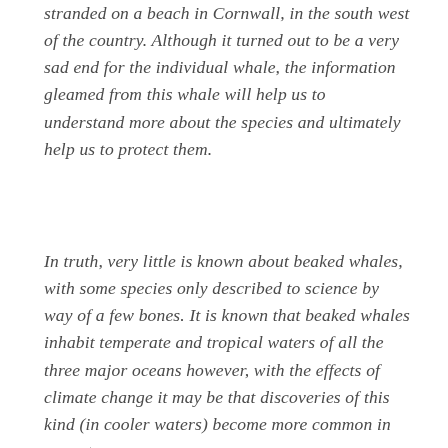stranded on a beach in Cornwall, in the south west of the country. Although it turned out to be a very sad end for the individual whale, the information gleamed from this whale will help us to understand more about the species and ultimately help us to protect them.
In truth, very little is known about beaked whales, with some species only described to science by way of a few bones. It is known that beaked whales inhabit temperate and tropical waters of all the three major oceans however, with the effects of climate change it may be that discoveries of this kind (in cooler waters) become more common in years to come.